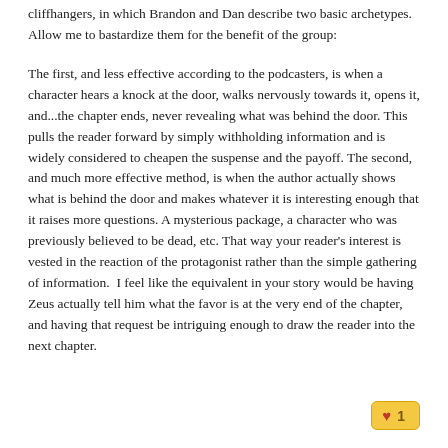cliffhangers, in which Brandon and Dan describe two basic archetypes. Allow me to bastardize them for the benefit of the group:
The first, and less effective according to the podcasters, is when a character hears a knock at the door, walks nervously towards it, opens it, and...the chapter ends, never revealing what was behind the door. This pulls the reader forward by simply withholding information and is widely considered to cheapen the suspense and the payoff. The second, and much more effective method, is when the author actually shows what is behind the door and makes whatever it is interesting enough that it raises more questions. A mysterious package, a character who was previously believed to be dead, etc. That way your reader's interest is vested in the reaction of the protagonist rather than the simple gathering of information.  I feel like the equivalent in your story would be having Zeus actually tell him what the favor is at the very end of the chapter, and having that request be intriguing enough to draw the reader into the next chapter.